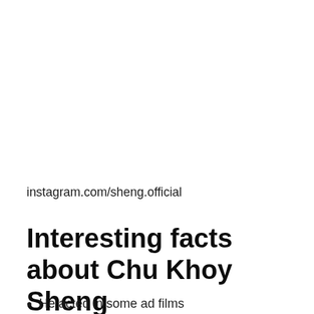instagram.com/sheng.official
Interesting facts about Chu Khoy Sheng
He acted in some ad films